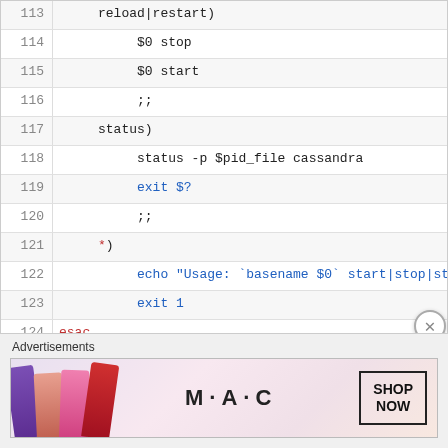[Figure (screenshot): Code viewer showing shell script lines 113-126 with syntax highlighting. Line numbers on left, code on right. Keywords like 'exit', 'echo', 'esac' in blue; '*' in red.]
Advertisements
[Figure (photo): MAC cosmetics advertisement banner showing lipsticks and MAC logo with SHOP NOW button]